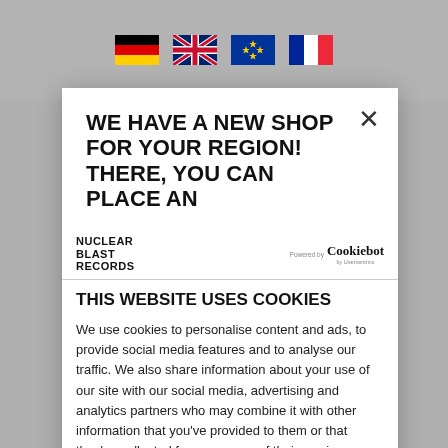[Figure (illustration): Background area showing four country flags: Germany, United Kingdom, European Union, France]
WE HAVE A NEW SHOP FOR YOUR REGION! THERE, YOU CAN PLACE AN
[Figure (logo): Nuclear Blast Records logo text and Cookiebot powered by Usercentrics badge]
THIS WEBSITE USES COOKIES
We use cookies to personalise content and ads, to provide social media features and to analyse our traffic. We also share information about your use of our site with our social media, advertising and analytics partners who may combine it with other information that you've provided to them or that they've collected from your use of their services.
Show